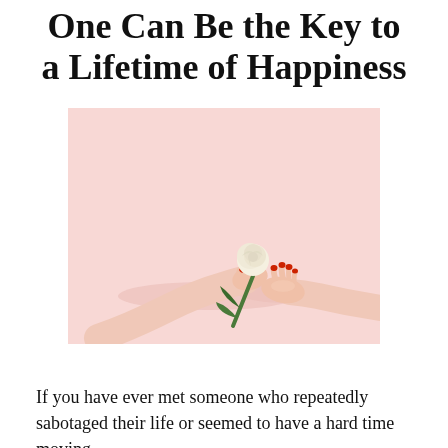One Can Be the Key to a Lifetime of Happiness
[Figure (photo): Two pale-skinned hands with red nail polish against a pink background. One hand holds a white rose with green leaves; the other hand rests on the surface with fingers curled.]
If you have ever met someone who repeatedly sabotaged their life or seemed to have a hard time moving